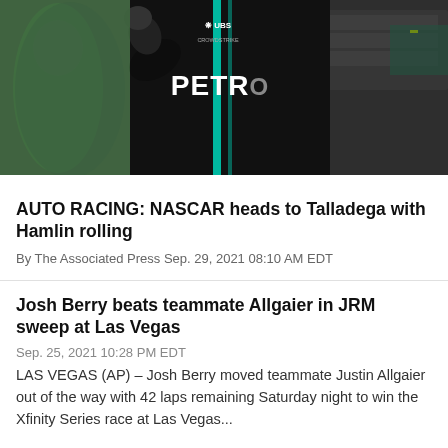[Figure (photo): A person wearing a black racing jacket with 'PETRO' text and UBS/CrowdStrike logos, Mercedes F1 team colors with teal accents, waving to crowd.]
AUTO RACING: NASCAR heads to Talladega with Hamlin rolling
By The Associated Press Sep. 29, 2021 08:10 AM EDT
Josh Berry beats teammate Allgaier in JRM sweep at Las Vegas
Sep. 25, 2021 10:28 PM EDT
LAS VEGAS (AP) – Josh Berry moved teammate Justin Allgaier out of the way with 42 laps remaining Saturday night to win the Xfinity Series race at Las Vegas...